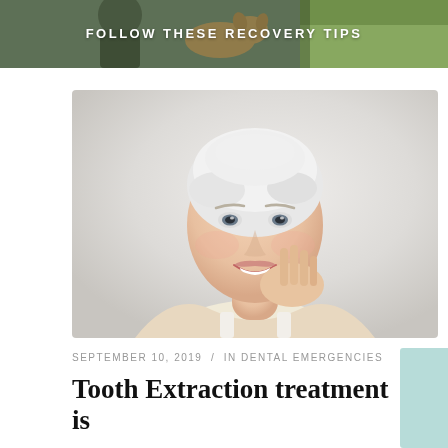FOLLOW THESE RECOVERY TIPS
[Figure (photo): Older woman with short white hair smiling and touching her face, against a light background. Studio portrait.]
SEPTEMBER 10, 2019 / IN DENTAL EMERGENCIES
Tooth Extraction treatment is